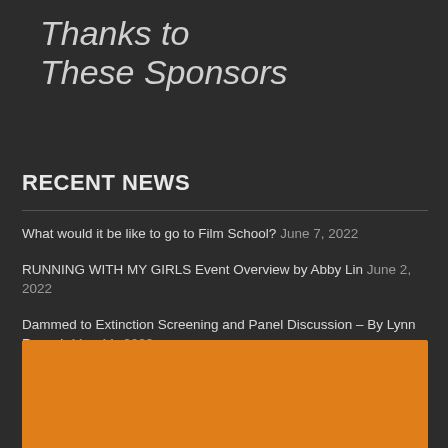Thanks to These Sponsors
RECENT NEWS
What would it be like to go to Film School? June 7, 2022
RUNNING WITH MY GIRLS Event Overview by Abby Lin June 2, 2022
Dammed to Extinction Screening and Panel Discussion – By Lynn Roesch May 11, 2022
[Figure (other): Orange banner block at bottom of page]